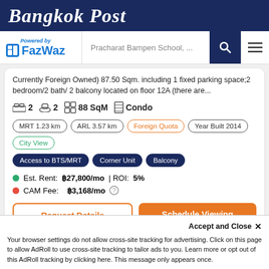Bangkok Post
[Figure (logo): FazWaz logo with 'Powered by' text and search bar showing 'Pracharat Bampen School, ...' with search and hamburger menu icons]
Currently Foreign Owned) 87.50 Sqm. including 1 fixed parking space;2 bedroom/2 bath/ 2 balcony located on floor 12A (there are...
2 bedrooms  2 bathrooms  88 SqM  Condo
MRT 1.23 km  ARL 3.57 km  Foreign Quota  Year Built 2014  City View
Access to BTS/MRT  Corner Unit  Balcony
Est. Rent: ฿27,800/mo | ROI: 5%
CAM Fee:  ฿3,168/mo
Request Details  |  Schedule Viewing
The Excel Ratchada 18
Accept and Close ×
Your browser settings do not allow cross-site tracking for advertising. Click on this page to allow AdRoll to use cross-site tracking to tailor ads to you. Learn more or opt out of this AdRoll tracking by clicking here. This message only appears once.